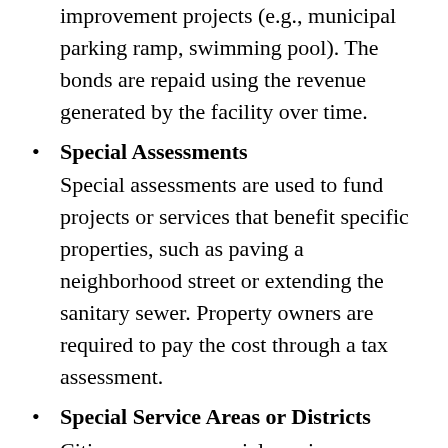improvement projects (e.g., municipal parking ramp, swimming pool). The bonds are repaid using the revenue generated by the facility over time.
Special Assessments
Special assessments are used to fund projects or services that benefit specific properties, such as paving a neighborhood street or extending the sanitary sewer. Property owners are required to pay the cost through a tax assessment.
Special Service Areas or Districts
Cities can use a special-service-area designation as a way to raise cash to finance extra services, improvements, or facilities that will benefit the targeted area. Projects